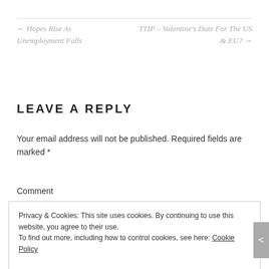← Hopes Rise As Unemployment Falls
TTIP – Valentine's Date For The US & EU? →
LEAVE A REPLY
Your email address will not be published. Required fields are marked *
Comment
Privacy & Cookies: This site uses cookies. By continuing to use this website, you agree to their use.
To find out more, including how to control cookies, see here: Cookie Policy
Close and accept